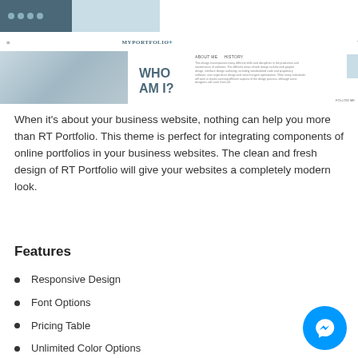[Figure (screenshot): Screenshot of a portfolio website mockup showing a navigation bar with MyPortfolio logo, social icons bar, hero section with 'WHO AM I?' heading, About Me and History tabs, and descriptive text with a Follow Me link.]
When it’s about your business website, nothing can help you more than RT Portfolio. This theme is perfect for integrating components of online portfolios in your business websites. The clean and fresh design of RT Portfolio will give your websites a completely modern look.
Features
Responsive Design
Font Options
Pricing Table
Unlimited Color Options